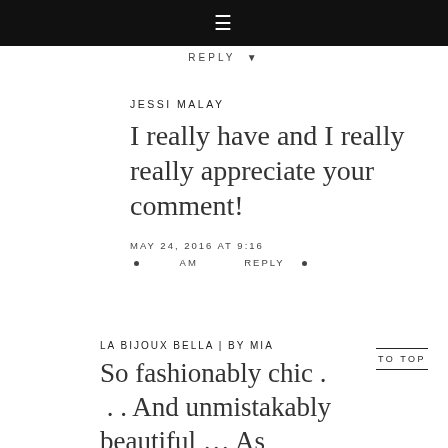≡
REPLY •
JESSI MALAY
I really have and I really really appreciate your comment!
MAY 24, 2016 AT 9:16 AM • REPLY •
LA BIJOUX BELLA | BY MIA
So fashionably chic . . . And unmistakably beautiful … As always! :)
TO TOP